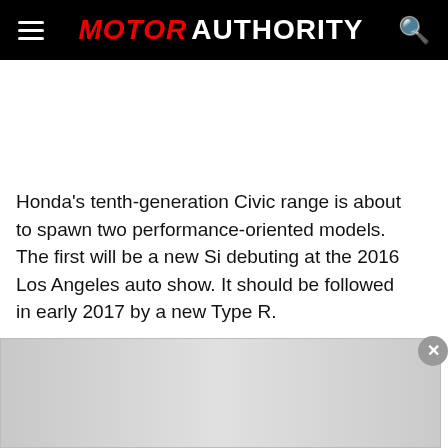MOTOR AUTHORITY
Honda's tenth-generation Civic range is about to spawn two performance-oriented models. The first will be a new Si debuting at the 2016 Los Angeles auto show. It should be followed in early 2017 by a new Type R.
[Figure (screenshot): Advertisement overlay banner with gradient gray background and close button (×) in top right corner]